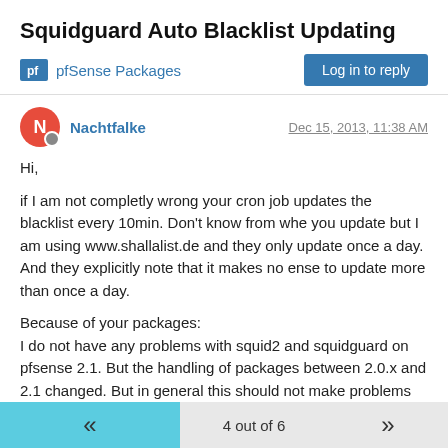Squidguard Auto Blacklist Updating
pfSense Packages
Nachtfalke   Dec 15, 2013, 11:38 AM
Hi,

if I am not completly wrong your cron job updates the blacklist every 10min. Don't know from whe you update but I am using www.shallalist.de and they only update once a day. And they explicitly note that it makes no ense to update more than once a day.

Because of your packages:
I do not have any problems with squid2 and squidguard on pfsense 2.1. But the handling of packages between 2.0.x and 2.1 changed. But in general this should not make problems after upgrading.

If you are using pfsense 2.1 and updated and you have problems with some packages than just uninstall the packages and reinstall
4 out of 6